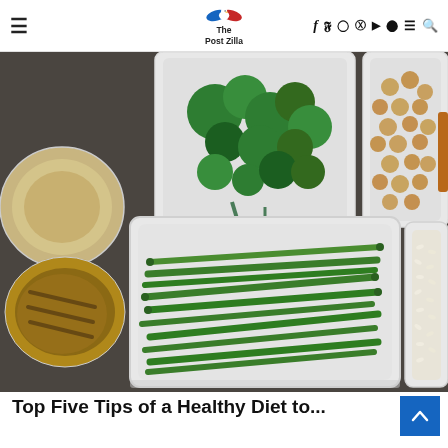The Post Zilla — navigation header with hamburger menu, logo, social icons (f, twitter, instagram, pinterest, youtube, snapchat), menu, search
[Figure (photo): Overhead view of meal-prep containers filled with healthy foods: broccoli florets, chickpeas, green beans, grilled chicken, and rice, arranged on a dark stone surface]
Top Five Tips of a Healthy Diet to...